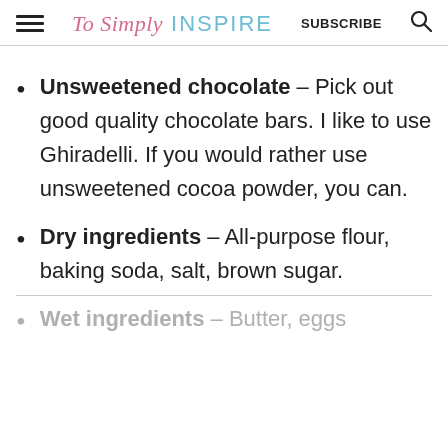To Simply INSPIRE  SUBSCRIBE
Unsweetened chocolate – Pick out good quality chocolate bars. I like to use Ghiradelli. If you would rather use unsweetened cocoa powder, you can.
Dry ingredients – All-purpose flour, baking soda, salt, brown sugar.
Wet ingredients – Butter, eggs